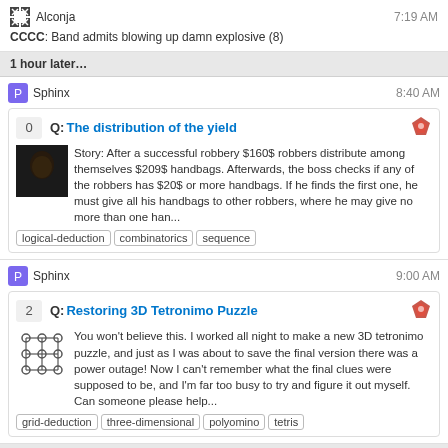Alconja  7:19 AM
CCCC: Band admits blowing up damn explosive (8)
1 hour later…
Sphinx  8:40 AM
Q: The distribution of the yield
Story: After a successful robbery $160$ robbers distribute among themselves $209$ handbags. Afterwards, the boss checks if any of the robbers has $20$ or more handbags. If he finds the first one, he must give all his handbags to other robbers, where he may give no more than one han...
logical-deduction | combinatorics | sequence
Sphinx  9:00 AM
Q: Restoring 3D Tetronimo Puzzle
You won't believe this. I worked all night to make a new 3D tetronimo puzzle, and just as I was about to save the final version there was a power outage! Now I can't remember what the final clues were supposed to be, and I'm far too busy to try and figure it out myself. Can someone please help...
grid-deduction | three-dimensional | polyomino | tetris
3 hours later…
Sphinx  11:40 AM
Q: Grammy Winners Grading